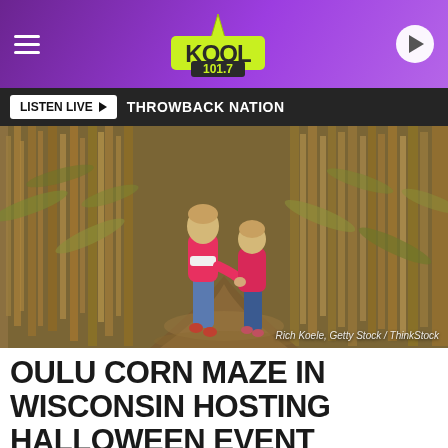KOOL 101.7
LISTEN LIVE ▶  THROWBACK NATION
[Figure (photo): Two young children, viewed from behind, walking hand-in-hand along a dirt path through a corn maze. Both are wearing pink tops. The corn stalks are tall and golden-brown.]
Rich Koele, Getty Stock / ThinkStock
OULU CORN MAZE IN WISCONSIN HOSTING HALLOWEEN EVENT